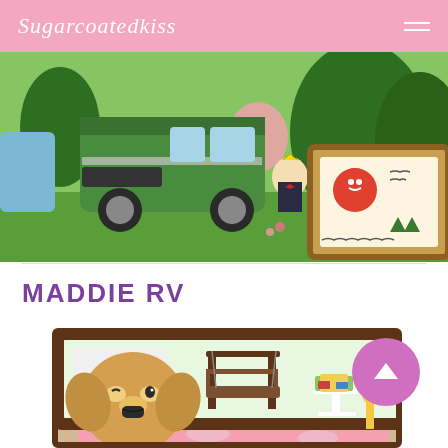Sugarcoatedkiss
[Figure (screenshot): Animal Crossing game screenshot showing a green delivery van, a character standing near a wooden sign with a red cat illustration, and trees in background]
MADDIE RV
[Figure (screenshot): Animal Crossing game screenshot showing a dog character (Maddie) in front of an RV with outdoor furniture including a swing bench and white table, mountains in background]